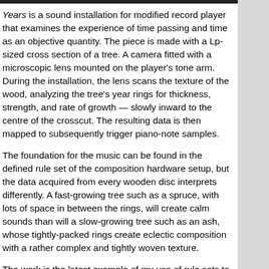Years is a sound installation for modified record player that examines the experience of time passing and time as an objective quantity. The piece is made with a Lp-sized cross section of a tree. A camera fitted with a microscopic lens mounted on the player's tone arm. During the installation, the lens scans the texture of the wood, analyzing the tree's year rings for thickness, strength, and rate of growth — slowly inward to the centre of the crosscut. The resulting data is then mapped to subsequently trigger piano-note samples.
The foundation for the music can be found in the defined rule set of the composition hardware setup, but the data acquired from every wooden disc interprets differently. A fast-growing tree such as a spruce, with lots of space in between the rings, will create calm sounds than will a slow-growing tree such as an ash, whose tightly-packed rings create eclectic composition with a rather complex and tightly woven texture.
The work is the latest example of my use of rule sets to create the source material and has exhibited throughout Europe.
Audio: Beach Tree (Excerpt: Years 46-0, 2011). Composed by Bartholomäus Traubeck using record player used in Traubeck's installation. Image by: Bartholomäus Traubeck
Bartholomäus Traubeck is a German designer and media artist based ... his practice lies in defining rulesets to create the actual output of his...